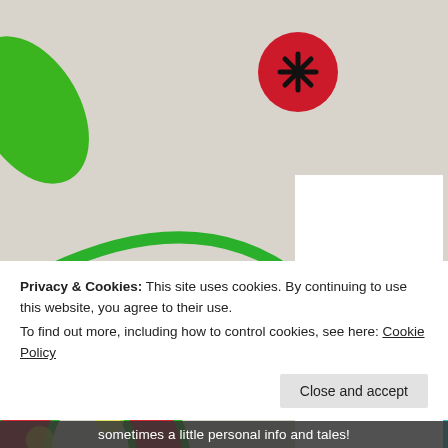[Figure (photo): Colorful photo background showing decorative letters 'e' and 'b' made from patterned fabric with a red circle/dot at top center, on a white background]
[Figure (illustration): White card/logo with italic bold yellow/golden text reading 'a better me is coming.']
[Figure (photo): Circular avatar photo of a person at the bottom of the white card]
Privacy & Cookies: This site uses cookies. By continuing to use this website, you agree to their use.
To find out more, including how to control cookies, see here: Cookie Policy
Close and accept
sometimes a little personal info and tales!